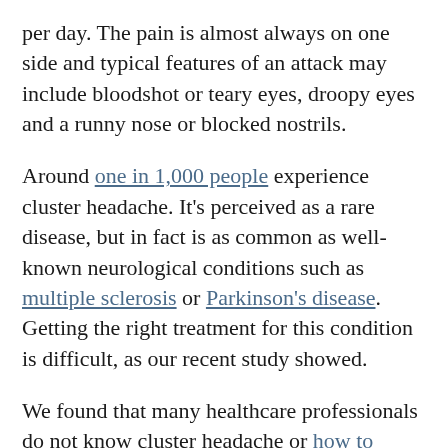per day. The pain is almost always on one side and typical features of an attack may include bloodshot or teary eyes, droopy eyes and a runny nose or blocked nostrils.
Around one in 1,000 people experience cluster headache. It's perceived as a rare disease, but in fact is as common as well-known neurological conditions such as multiple sclerosis or Parkinson's disease. Getting the right treatment for this condition is difficult, as our recent study showed.
We found that many healthcare professionals do not know cluster headache or how to diagnose the condition. This has serious consequences for those suffering. Our research also shows patients regularly face long delays and undergo unnecessary procedures and referrals to specialist care before